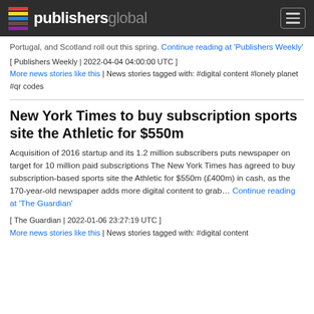publishersglobal
Portugal, and Scotland roll out this spring. Continue reading at 'Publishers Weekly'
[ Publishers Weekly | 2022-04-04 04:00:00 UTC ] More news stories like this | News stories tagged with: #digital content #lonely planet #qr codes
New York Times to buy subscription sports site the Athletic for $550m
Acquisition of 2016 startup and its 1.2 million subscribers puts newspaper on target for 10 million paid subscriptions The New York Times has agreed to buy subscription-based sports site the Athletic for $550m (£400m) in cash, as the 170-year-old newspaper adds more digital content to grab... Continue reading at 'The Guardian'
[ The Guardian | 2022-01-06 23:27:19 UTC ] More news stories like this | News stories tagged with: #digital content